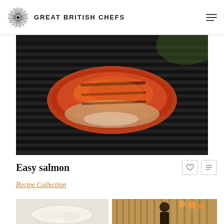GREAT BRITISH CHEFS
[Figure (photo): A glazed salmon fillet cooking on a dark barbecue grill with grill marks visible, photographed from above at a slight angle.]
Easy salmon
Recipe Collection
[Figure (photo): Bottom-left thumbnail: a white plate with pale food item, likely a dessert or starter dish.]
[Figure (photo): Bottom-right thumbnail: a person standing in what appears to be a restaurant or bar setting with warm ambient lighting.]